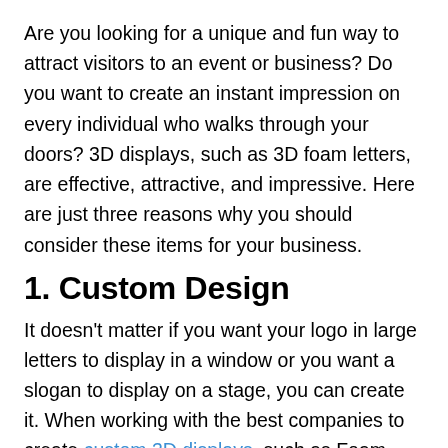Are you looking for a unique and fun way to attract visitors to an event or business? Do you want to create an instant impression on every individual who walks through your doors? 3D displays, such as 3D foam letters, are effective, attractive, and impressive. Here are just three reasons why you should consider these items for your business.
1. Custom Design
It doesn't matter if you want your logo in large letters to display in a window or you want a slogan to display on a stage, you can create it. When working with the best companies to create custom 3D displays, such as Foam Fab, the opportunities are endless. You can bring a custom design to the